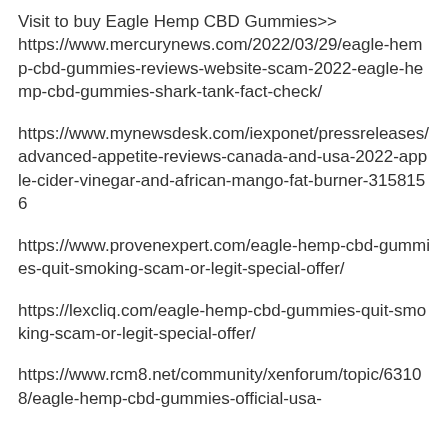Visit to buy Eagle Hemp CBD Gummies>> https://www.mercurynews.com/2022/03/29/eagle-hemp-cbd-gummies-reviews-website-scam-2022-eagle-hemp-cbd-gummies-shark-tank-fact-check/
https://www.mynewsdesk.com/iexponet/pressreleases/advanced-appetite-reviews-canada-and-usa-2022-apple-cider-vinegar-and-african-mango-fat-burner-3158156
https://www.provenexpert.com/eagle-hemp-cbd-gummies-quit-smoking-scam-or-legit-special-offer/
https://lexcliq.com/eagle-hemp-cbd-gummies-quit-smoking-scam-or-legit-special-offer/
https://www.rcm8.net/community/xenforum/topic/63108/eagle-hemp-cbd-gummies-official-usa-